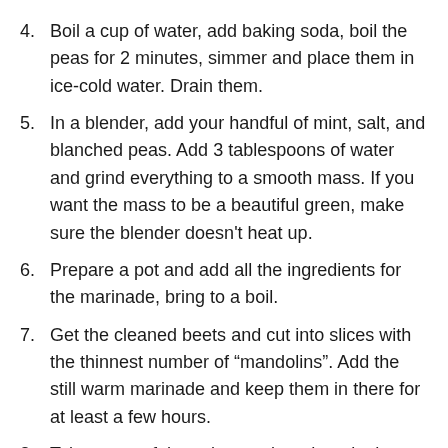4. Boil a cup of water, add baking soda, boil the peas for 2 minutes, simmer and place them in ice-cold water. Drain them.
5. In a blender, add your handful of mint, salt, and blanched peas. Add 3 tablespoons of water and grind everything to a smooth mass. If you want the mass to be a beautiful green, make sure the blender doesn’t heat up.
6. Prepare a pot and add all the ingredients for the marinade, bring to a boil.
7. Get the cleaned beets and cut into slices with the thinnest number of “mandolins”. Add the still warm marinade and keep them in there for at least a few hours.
8. Take some of those beets, drop them in the blender and make a puree out of it for beautiful plating and